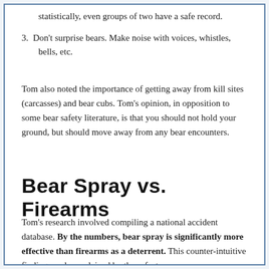statistically, even groups of two have a safe record.
3. Don't surprise bears. Make noise with voices, whistles, bells, etc.
Tom also noted the importance of getting away from kill sites (carcasses) and bear cubs. Tom's opinion, in opposition to some bear safety literature, is that you should not hold your ground, but should move away from any bear encounters.
Bear Spray vs. Firearms
Tom's research involved compiling a national accident database. By the numbers, bear spray is significantly more effective than firearms as a deterrent. This counter-intuitive finding can be explained by these factors: